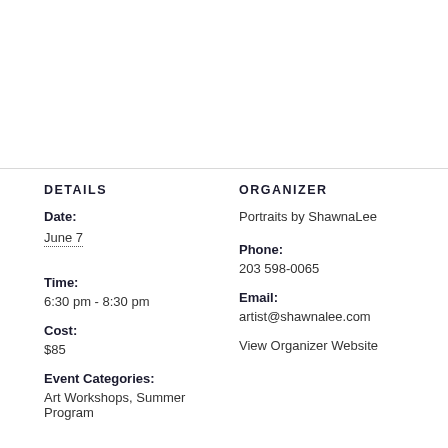DETAILS
Date:
June 7
Time:
6:30 pm - 8:30 pm
Cost:
$85
Event Categories:
Art Workshops, Summer Program
ORGANIZER
Portraits by ShawnaLee
Phone:
203 598-0065
Email:
artist@shawnalee.com
View Organizer Website